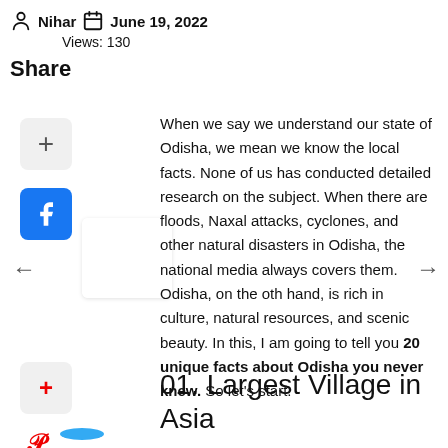Nihar   June 19, 2022   Views: 130
Share
When we say we understand our state of Odisha, we mean we know the local facts. None of us has conducted detailed research on the subject. When there are floods, Naxal attacks, cyclones, and other natural disasters in Odisha, the national media always covers them. Odisha, on the other hand, is rich in culture, natural resources, and scenic beauty. In this, I am going to tell you 20 unique facts about Odisha you never knew. So let's start.
01. Largest Village in Asia